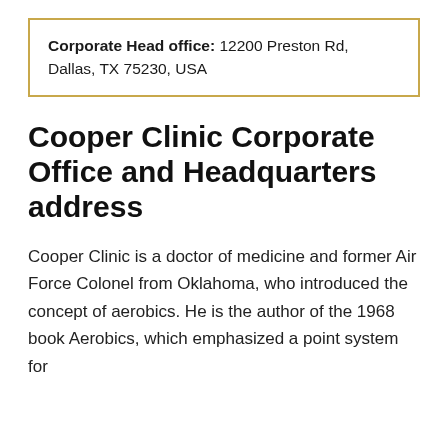Corporate Head office: 12200 Preston Rd, Dallas, TX 75230, USA
Cooper Clinic Corporate Office and Headquarters address
Cooper Clinic is a doctor of medicine and former Air Force Colonel from Oklahoma, who introduced the concept of aerobics. He is the author of the 1968 book Aerobics, which emphasized a point system for